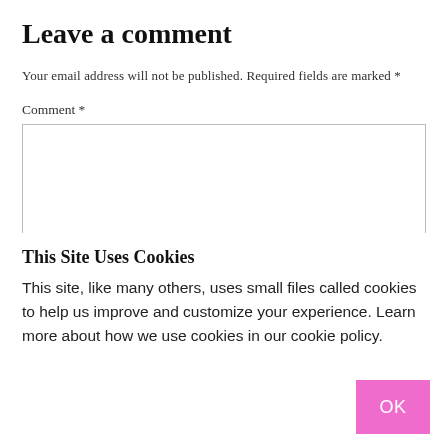Leave a comment
Your email address will not be published. Required fields are marked *
Comment *
This Site Uses Cookies
This site, like many others, uses small files called cookies to help us improve and customize your experience. Learn more about how we use cookies in our cookie policy.